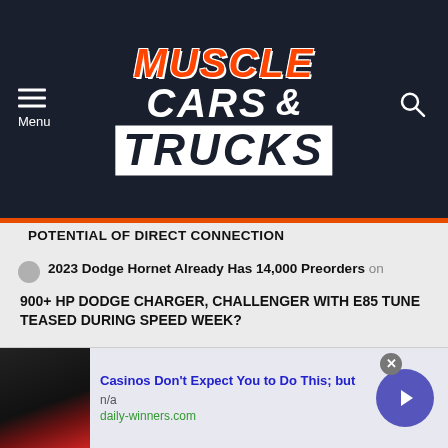[Figure (logo): Muscle Cars & Trucks website header logo with hamburger menu and search icon on dark navy background]
POTENTIAL OF DIRECT CONNECTION
2023 Dodge Hornet Already Has 14,000 Preorders on
900+ HP DODGE CHARGER, CHALLENGER WITH E85 TUNE TEASED DURING SPEED WEEK?
© 2022 Tri-Power Media, LLC
Home   Contact MC&T!   About Muscle Cars & Trucks   Privacy Policy
[Figure (photo): Advertisement banner: Casinos Don't Expect You to Do This; but - n/a - daily-winners.com, with a dark jacket photo and purple arrow button]